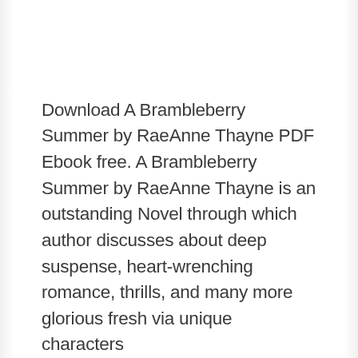Download A Brambleberry Summer by RaeAnne Thayne PDF Ebook free. A Brambleberry Summer by RaeAnne Thayne is an outstanding Novel through which author discusses about deep suspense, heart-wrenching romance, thrills, and many more glorious fresh via unique characters